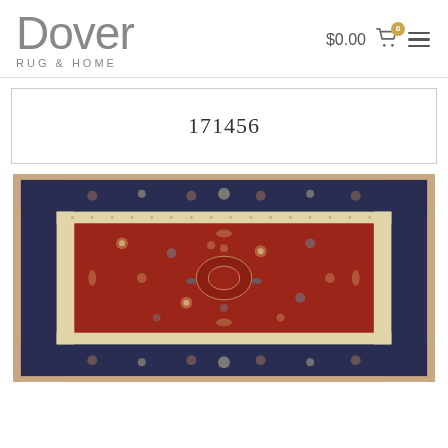Dover Rug & Home — $0.00 cart, 0 items
171456
[Figure (photo): Persian-style floral rug with dark navy border and deep red field, featuring an all-over floral pattern with birds and detailed botanical motifs. Item number 171456 from Dover Rug & Home.]